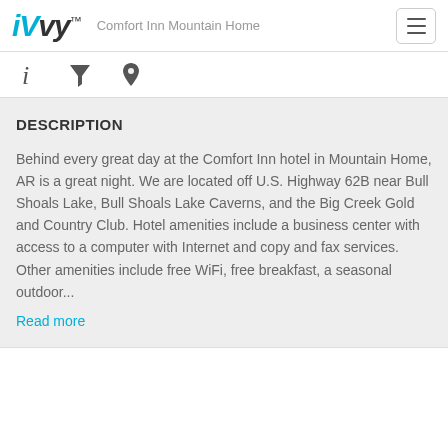iVvy — Comfort Inn Mountain Home
[Figure (screenshot): Navigation toolbar with info, filter, and location icons]
DESCRIPTION
Behind every great day at the Comfort Inn hotel in Mountain Home, AR is a great night. We are located off U.S. Highway 62B near Bull Shoals Lake, Bull Shoals Lake Caverns, and the Big Creek Gold and Country Club. Hotel amenities include a business center with access to a computer with Internet and copy and fax services. Other amenities include free WiFi, free breakfast, a seasonal outdoor...
Read more